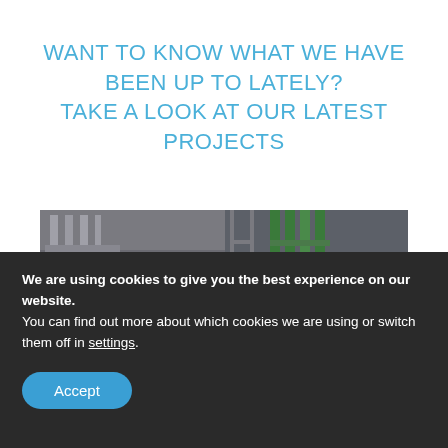WANT TO KNOW WHAT WE HAVE BEEN UP TO LATELY?
TAKE A LOOK AT OUR LATEST PROJECTS
[Figure (photo): Industrial engineering facility interior showing large white machinery/control cabinets with colorful signal lights, metal pipework, scaffolding, blue pressure vessels, and a worker in hi-vis jacket in the background.]
We are using cookies to give you the best experience on our website.
You can find out more about which cookies we are using or switch them off in settings.